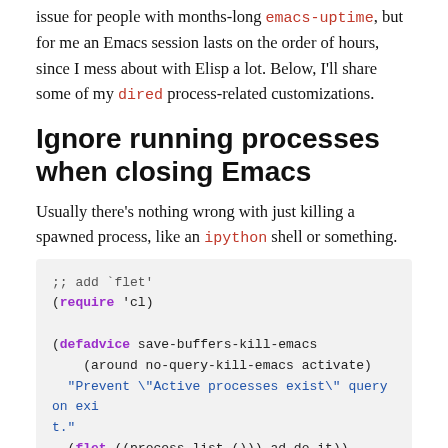issue for people with months-long emacs-uptime, but for me an Emacs session lasts on the order of hours, since I mess about with Elisp a lot. Below, I'll share some of my dired process-related customizations.
Ignore running processes when closing Emacs
Usually there's nothing wrong with just killing a spawned process, like an ipython shell or something.
;; add `flet'
(require 'cl)

(defadvice save-buffers-kill-emacs
  (around no-query-kill-emacs activate)
  "Prevent \"Active processes exist\" query on exit."
  (flet ((process-list ())) ad-do-it))
Guess programs by file extension